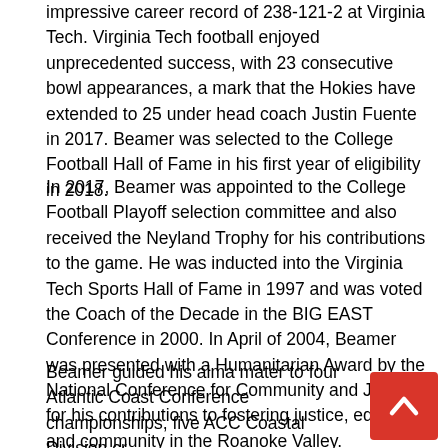impressive career record of 238-121-2 at Virginia Tech. Virginia Tech football enjoyed unprecedented success, with 23 consecutive bowl appearances, a mark that the Hokies have extended to 25 under head coach Justin Fuente in 2017. Beamer was selected to the College Football Hall of Fame in his first year of eligibility in 2018.
In 2017, Beamer was appointed to the College Football Playoff selection committee and also received the Neyland Trophy for his contributions to the game. He was inducted into the Virginia Tech Sports Hall of Fame in 1997 and was voted the Coach of the Decade in the BIG EAST Conference in 2000. In April of 2004, Beamer was presented with a Humanitarian Award by the National Conference for Community and Justice for his contributions to fostering justice, equity and community in the Roanoke Valley.
Beamer guided his alma mater to four Atlantic Coast Conference championships, five ACC Coastal Division cr... three BIG EAST Conference titles, six BCS appearances, "major" bowl victories and a trip to the 1999 national